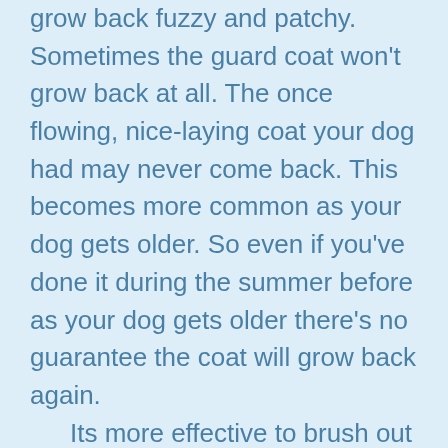grow back fuzzy and patchy. Sometimes the guard coat won't grow back at all. The once flowing, nice-laying coat your dog had may never come back. This becomes more common as your dog gets older. So even if you've done it during the summer before as your dog gets older there's no guarantee the coat will grow back again.

Its more effective to brush out the shedding undercoat and leave the top coat its natural length so it can help them stay cool and protect them from the sun. Dogs have 5-22 hairs per follicle compared to our one hair per follicle. Its on a constant rotation but dogs will usually blow out a lot of their undercoat in the spring to grow in a cooler, lighter coat for the summer. We